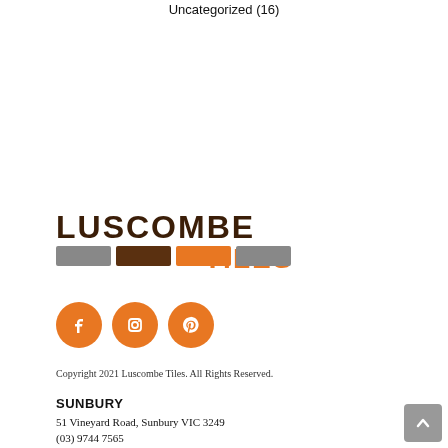Uncategorized (16)
[Figure (logo): Luscombe Tiles logo with colored tile blocks in grey, brown, orange, grey colors beneath the text LUSCOMBE in dark brown and TILES in orange]
[Figure (infographic): Three orange circular social media icons: Facebook, Instagram, Pinterest]
Copyright 2021 Luscombe Tiles. All Rights Reserved.
SUNBURY
51 Vineyard Road, Sunbury VIC 3249
(03) 9744 7565